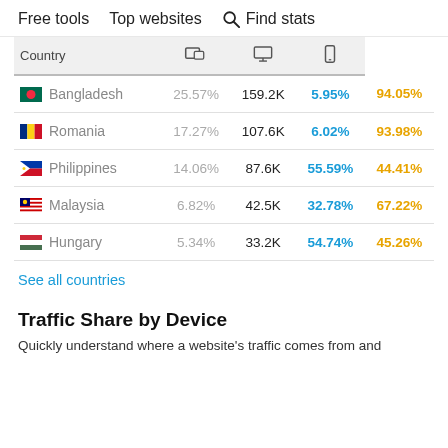Free tools   Top websites   Find stats
| Country | desktop+mobile | desktop | mobile |
| --- | --- | --- | --- |
| Bangladesh | 25.57% | 159.2K | 5.95% | 94.05% |
| Romania | 17.27% | 107.6K | 6.02% | 93.98% |
| Philippines | 14.06% | 87.6K | 55.59% | 44.41% |
| Malaysia | 6.82% | 42.5K | 32.78% | 67.22% |
| Hungary | 5.34% | 33.2K | 54.74% | 45.26% |
See all countries
Traffic Share by Device
Quickly understand where a website's traffic comes from and